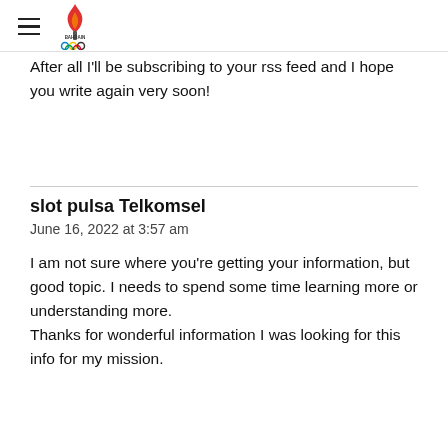Bahrain Olympic Committee
After all I'll be subscribing to your rss feed and I hope you write again very soon!
slot pulsa Telkomsel
June 16, 2022 at 3:57 am

I am not sure where you're getting your information, but
good topic. I needs to spend some time learning more or understanding more.
Thanks for wonderful information I was looking for this info for my mission.